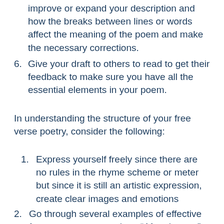improve or expand your description and how the breaks between lines or words affect the meaning of the poem and make the necessary corrections.
6. Give your draft to others to read to get their feedback to make sure you have all the essential elements in your poem.
In understanding the structure of your free verse poetry, consider the following:
1. Express yourself freely since there are no rules in the rhyme scheme or meter but since it is still an artistic expression, create clear images and emotions
2. Go through several examples of effective free verse poems such as “After the sea” by Walt